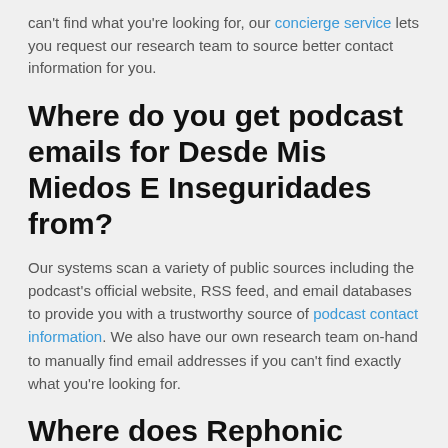can't find what you're looking for, our concierge service lets you request our research team to source better contact information for you.
Where do you get podcast emails for Desde Mis Miedos E Inseguridades from?
Our systems scan a variety of public sources including the podcast's official website, RSS feed, and email databases to provide you with a trustworthy source of podcast contact information. We also have our own research team on-hand to manually find email addresses if you can't find exactly what you're looking for.
Where does Rephonic collect Desde Mis Miedos E Inseguridades reviews from?
Rephonic pulls reviews for Desde Mis Miedos E Inseguridades from